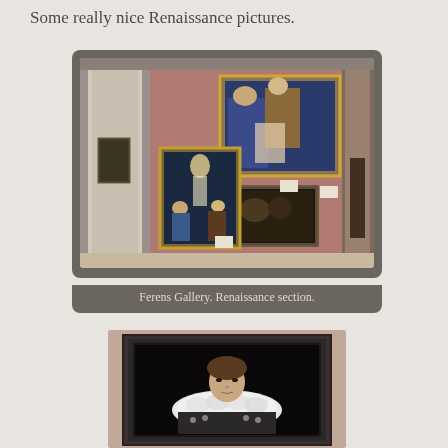Some really nice Renaissance pictures.
[Figure (photo): Interior of Ferens Gallery Renaissance section showing multiple framed Renaissance paintings on a pinkish-red wall. Left shows a doorway with a mirror/doorframe, center-left has a gold-framed painting of a Transfiguration scene, upper center has a large gold-framed religious painting with Madonna and figures, lower center has a smaller dark-framed painting of figures.]
Ferens Gallery. Renaissance section.
[Figure (photo): A Renaissance-era portrait of a woman with an elaborate white ruffled collar and ornate dress, displayed in a dark frame against a pinkish wall in a gallery setting.]